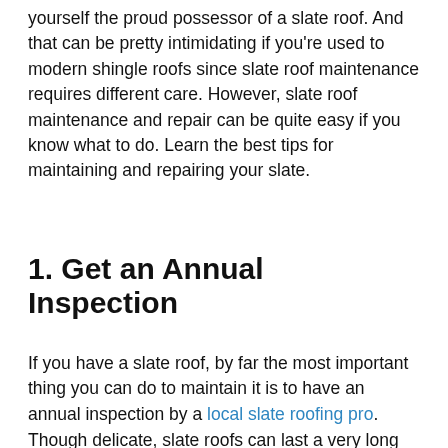yourself the proud possessor of a slate roof. And that can be pretty intimidating if you're used to modern shingle roofs since slate roof maintenance requires different care. However, slate roof maintenance and repair can be quite easy if you know what to do. Learn the best tips for maintaining and repairing your slate.
1. Get an Annual Inspection
If you have a slate roof, by far the most important thing you can do to maintain it is to have an annual inspection by a local slate roofing pro. Though delicate, slate roofs can last a very long time—100 years or more—if taken care of properly.
...